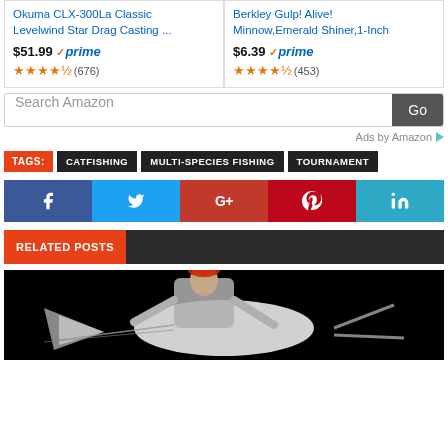[Figure (other): Two Amazon product cards: Okuma CLX-300La Classic Levelwind Star Drag Casting reel at $51.99 prime with 4.5 stars (676 reviews), and Berkley Gulp! Alive! Minnow Emerald Shiner 1-Inch at $6.39 prime with 4.5 stars (453 reviews)]
[Figure (screenshot): Amazon search bar with 'Search Amazon' placeholder text and 'Go' button]
Ads by Amazon
TAGS: CATFISHING  MULTI-SPECIES FISHING  TOURNAMENT
[Figure (infographic): Social sharing buttons: Facebook, Twitter, Google+, Pinterest, LinkedIn]
RELATED POSTS
[Figure (photo): Man holding a large white catfish against a black background, nighttime photo]